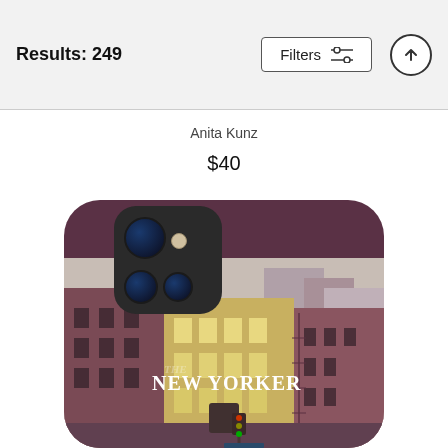Results: 249
Filters
Anita Kunz
$40
[Figure (photo): iPhone case with dark mauve/purple case body showing a New Yorker magazine cover art depicting New York City street scene with buildings, fire escapes, and a traffic light. The phone case shows the camera module at the top.]